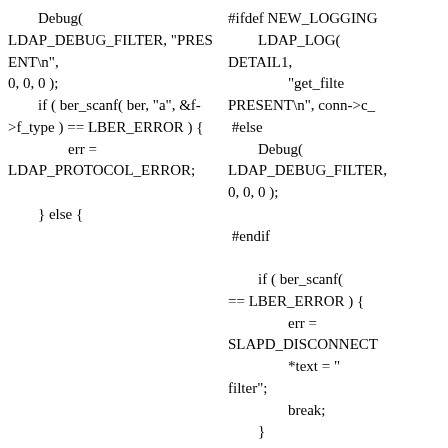Debug(
LDAP_DEBUG_FILTER, "PRESENT\n",
0, 0, 0 );
        if ( ber_scanf( ber, "a", &f->f_type ) == LBER_ERROR ) {
                err =
LDAP_PROTOCOL_ERROR;

        } else {
#ifdef NEW_LOGGING
        LDAP_LOG(
DETAIL1,
                "get_filte
PRESENT\n", conn->c_
 #else
        Debug(
LDAP_DEBUG_FILTER,
0, 0, 0 );

 #endif

        if ( ber_scanf(
== LBER_ERROR ) {
                err =
SLAPD_DISCONNECT
                *text = "
filter";
                break;
        }

        f->f_desc = N
        err = slap_bv2
>f_desc, text );

        if( err != LDA